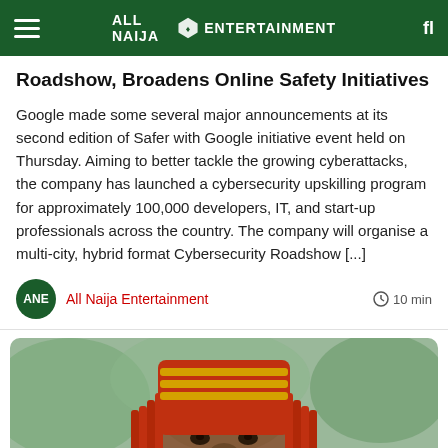ALL NAIJA ENTERTAINMENT
Roadshow, Broadens Online Safety Initiatives
Google made some several major announcements at its second edition of Safer with Google initiative event held on Thursday. Aiming to better tackle the growing cyberattacks, the company has launched a cybersecurity upskilling program for approximately 100,000 developers, IT, and start-up professionals across the country. The company will organise a multi-city, hybrid format Cybersecurity Roadshow [...]
All Naija Entertainment
10 min
[Figure (photo): A man wearing traditional Nigerian red beaded headgear and attire, with a serious expression, outdoors with blurred greenery in the background.]